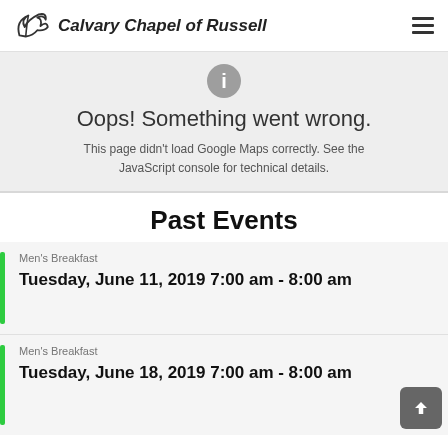Calvary Chapel of Russell
[Figure (other): Google Maps error box with icon, heading 'Oops! Something went wrong.' and detail text 'This page didn't load Google Maps correctly. See the JavaScript console for technical details.']
Past Events
Men's Breakfast
Tuesday, June 11, 2019 7:00 am - 8:00 am
Men's Breakfast
Tuesday, June 18, 2019 7:00 am - 8:00 am